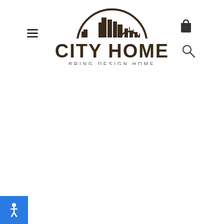[Figure (logo): City Home logo with city skyline and arch above, bold text CITY HOME and tagline BRING DESIGN HOME]
[Figure (other): Hamburger menu icon (three horizontal lines)]
[Figure (other): Shopping bag icon in top right]
[Figure (other): Search/magnifying glass icon in top right below bag]
[Figure (other): Add to cart widget on left side, orange shopping cart with plus sign]
[Figure (other): Accessibility button in bottom left corner, blue circle with person icon]